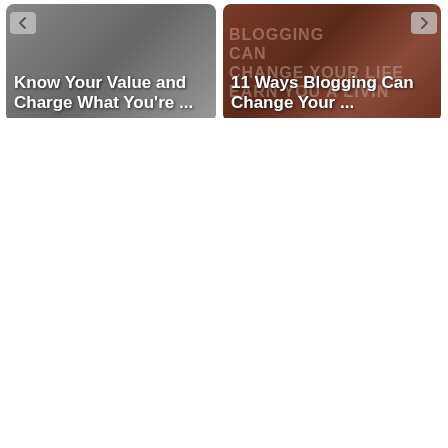[Figure (screenshot): Two blog post thumbnail cards in a carousel. Left card has gray gradient background with text 'Know Your Value and Charge What You're ...' in white bold. Right card has brownish/reddish photo background with text '11 Ways Blogging Can Change Your ...' in white bold. Navigation arrows visible at top corners.]